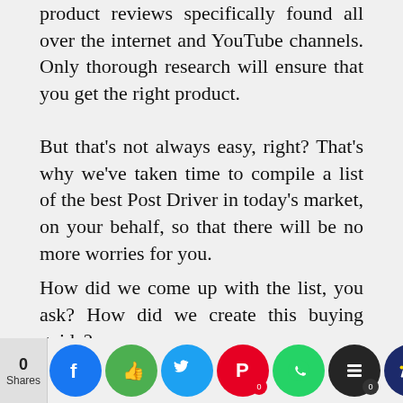product reviews specifically found all over the internet and YouTube channels. Only thorough research will ensure that you get the right product.
But that's not always easy, right? That's why we've taken time to compile a list of the best Post Driver in today's market, on your behalf, so that there will be no more worries for you.
How did we come up with the list, you ask? How did we create this buying guide?
First, our algorithms collected as much information available about